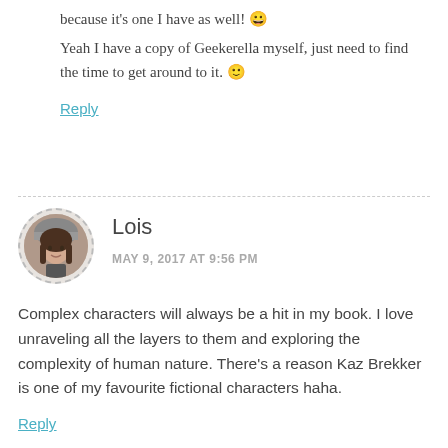because it's one I have as well! 😀 Yeah I have a copy of Geekerella myself, just need to find the time to get around to it. 🙂
Reply
[Figure (photo): Circular avatar photo of Lois with dashed border, woman with long dark hair wearing a hat]
Lois
MAY 9, 2017 AT 9:56 PM
Complex characters will always be a hit in my book. I love unraveling all the layers to them and exploring the complexity of human nature. There's a reason Kaz Brekker is one of my favourite fictional characters haha.
Reply